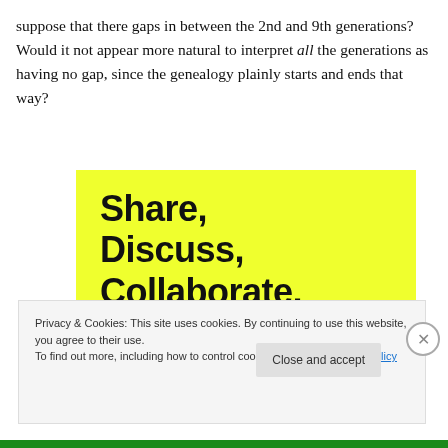suppose that there gaps in between the 2nd and 9th generations? Would it not appear more natural to interpret all the generations as having no gap, since the genealogy plainly starts and ends that way?
[Figure (other): Yellow box with bold text reading: Share, Discuss, Collaborate, P2.]
Privacy & Cookies: This site uses cookies. By continuing to use this website, you agree to their use. To find out more, including how to control cookies, see here: Cookie Policy